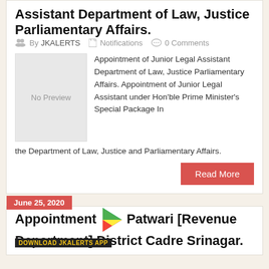Assistant Department of Law, Justice Parliamentary Affairs.
By JKALERTS   Notifications   0 Comments
[Figure (other): No Preview placeholder image box]
Appointment of Junior Legal Assistant Department of Law, Justice Parliamentary Affairs. Appointment of Junior Legal Assistant under Hon'ble Prime Minister's Special Package In the Department of Law, Justice and Parliamentary Affairs.
Read More
June 25, 2020
Appointment of Patwari [Revenue Department] District Cadre Srinagar.
DOWNLOAD JKALERTS APP